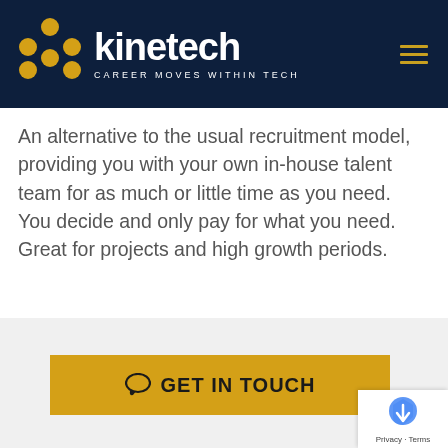Kinetech — CAREER MOVES WITHIN TECH
An alternative to the usual recruitment model, providing you with your own in-house talent team for as much or little time as you need. You decide and only pay for what you need. Great for projects and high growth periods.
[Figure (other): GET IN TOUCH call-to-action button in yellow/gold color with chat icon]
Privacy · Terms